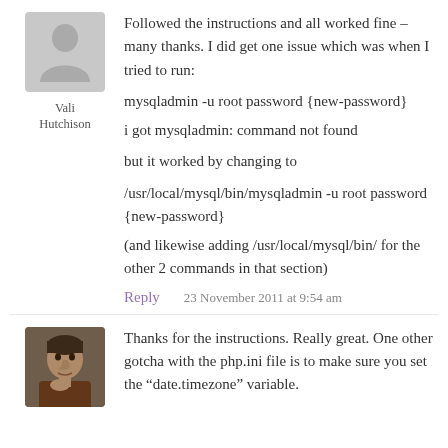[Figure (illustration): Gray placeholder avatar silhouette icon]
Followed the instructions and all worked fine – many thanks. I did get one issue which was when I tried to run:
mysqladmin -u root password {new-password}
i got mysqladmin: command not found
but it worked by changing to
/usr/local/mysql/bin/mysqladmin -u root password {new-password}
(and likewise adding /usr/local/mysql/bin/ for the other 2 commands in that section)
Vali Hutchison
Reply   23 November 2011 at 9:54 am
[Figure (photo): Photo of a man with dark hair resting his chin on his hand]
Thanks for the instructions. Really great. One other gotcha with the php.ini file is to make sure you set the "date.timezone" variable.